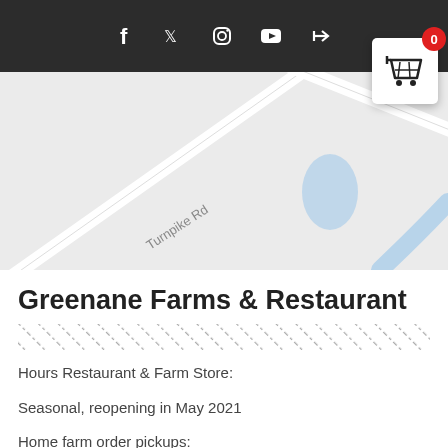Social media icons: Facebook, Twitter, Instagram, YouTube, Login. Shopping cart with badge 0.
[Figure (map): Google Maps style road map showing Turnpike Rd intersection, a small blue pond/lake shape, and a blue curved road/river line on a light gray background.]
Greenane Farms & Restaurant
Hours Restaurant & Farm Store:
Seasonal, reopening in May 2021
Home farm order pickups: